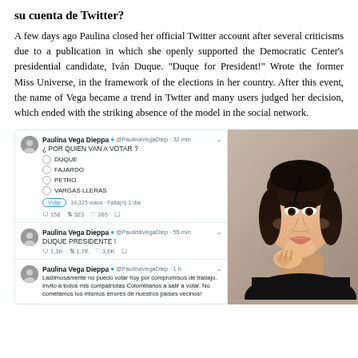su cuenta de Twitter?
A few days ago Paulina closed her official Twitter account after several criticisms due to a publication in which she openly supported the Democratic Center's presidential candidate, Iván Duque. "Duque for President!" Wrote the former Miss Universe, in the framework of the elections in her country. After this event, the name of Vega became a trend in Twtter and many users judged her decision, which ended with the striking absence of the model in the social network.
[Figure (screenshot): Screenshot of three tweets by @PaulinaVegaDiep (Paulina Vega Dieppa) showing a Twitter poll asking '¿POR QUIEN VAN A VOTAR?' with options DUQUE, FAJARDO, PETRO, VARGAS LLERAS (14,325 votos, Falta(n) 1 día), a tweet saying 'DUQUE PRESIDENTE!', and a tweet saying 'Lastimosamente no puedo votar hoy por compromisos de trabajo. Invito a todos mis compatriotas Colombianos a salir a votar. No cometamos los mismos errores de nuestros países vecinos!']
[Figure (photo): Portrait photo of Paulina Vega, a young woman with dark hair pulled back, wearing a black top, looking directly at the camera.]